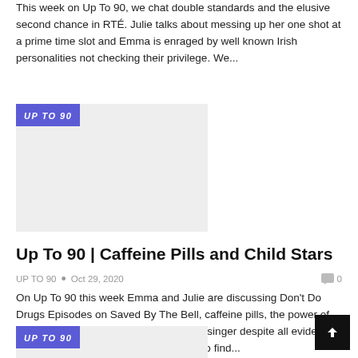This week on Up To 90, we chat double standards and the elusive second chance in RTÉ. Julie talks about messing up her one shot at a prime time slot and Emma is enraged by well known Irish personalities not checking their privilege. We...
[Figure (other): Podcast thumbnail image placeholder with 'UP TO 90' badge in purple]
Up To 90 | Caffeine Pills and Child Stars
UP TO 90  •  Oct 29, 2020    0
On Up To 90 this week Emma and Julie are discussing Don't Do Drugs Episodes on Saved By The Bell, caffeine pills, the power of French teachers, Emma denies being a singer despite all evidence to the contrary and Fred is determined to find...
[Figure (other): Podcast thumbnail image placeholder with 'UP TO 90' badge in purple]